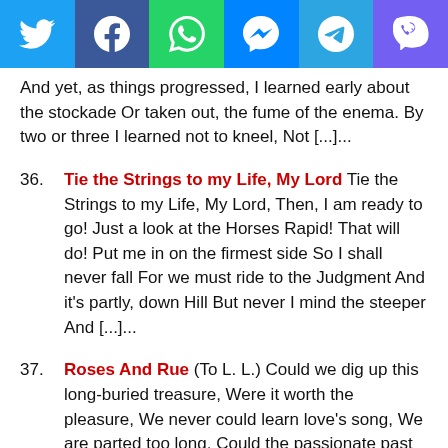[Figure (other): Social sharing bar with Twitter, Facebook, WhatsApp, Messenger, Telegram, Viber icons]
And yet, as things progressed, I learned early about the stockade Or taken out, the fume of the enema. By two or three I learned not to kneel, Not [...]...
36. Tie the Strings to my Life, My Lord Tie the Strings to my Life, My Lord, Then, I am ready to go! Just a look at the Horses Rapid! That will do! Put me in on the firmest side So I shall never fall For we must ride to the Judgment And it's partly, down Hill But never I mind the steeper And [...]...
37. Roses And Rue (To L. L.) Could we dig up this long-buried treasure, Were it worth the pleasure, We never could learn love's song, We are parted too long. Could the passionate past that is fled Call back its dead, Could we live it all over again, Were